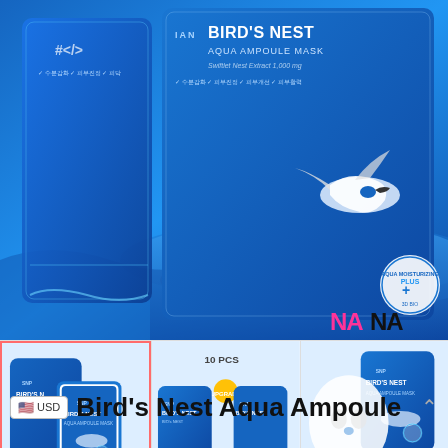[Figure (photo): Main product image of SNP Bird's Nest Aqua Ampoule Mask packaging — blue box with bird and water imagery, shows two package sizes]
[Figure (photo): Thumbnail 1 (selected, red border): Two SNP Bird's Nest Aqua Ampoule Mask packages — large box and individual sachet, NANA watermark]
[Figure (photo): Thumbnail 2: 10 PCS set of SNP Bird's Nest Aqua Ampoule Masks shown alongside individual packaging, NANA watermark]
[Figure (photo): Thumbnail 3: SNP Bird's Nest Aqua Ampoule Mask box and individual sheet mask laid flat, NANA watermark]
USD  Bird's Nest Aqua Ampoule